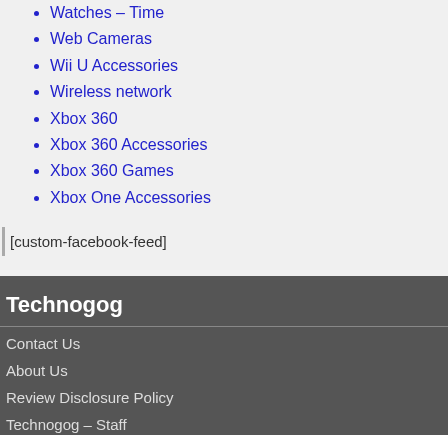Watches – Time
Web Cameras
Wii U Accessories
Wireless network
Xbox 360
Xbox 360 Accessories
Xbox 360 Games
Xbox One Accessories
[custom-facebook-feed]
Technogog
Contact Us
About Us
Review Disclosure Policy
Technogog – Staff